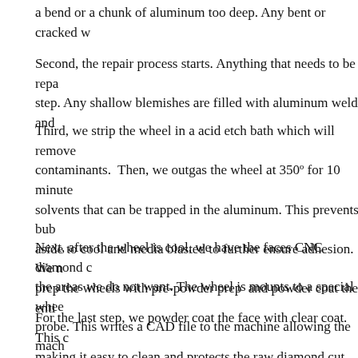a bend or a chunk of aluminum too deep. Any bent or cracked w
Second, the repair process starts. Anything that needs to be repaired is done in this step. Any shallow blemishes are filled with aluminum weld and
Third, we strip the wheel in a acid etch bath which will remove contaminants.  Then, we outgas the wheel at 350º for 10 minutes solvents that can be trapped in the aluminum. This prevents bub aside to cool and media blasted to further ensure adhesion. We prep the wheels with pre-powder prep  and powder coat the enti
Next, after the wheel is cool, we have the faces CNC diamond c the areas we do not want. The wheel is mounts to a special whee probe. This writes a CAD file to the machine allowing the mach
For the last step, we powder coat the face with clear coat. This c making it easy to clean and protects the raw diamond cut alumin
making it easy to clean and protects the raw diamond cut alumin